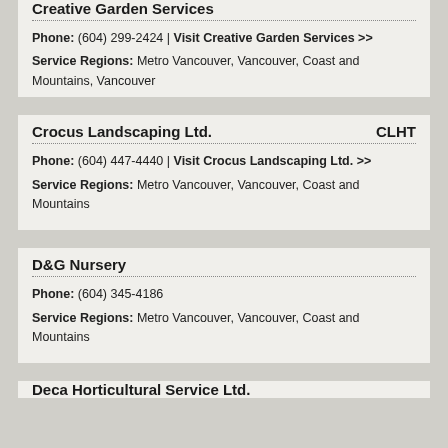Creative Garden Services
Phone: (604) 299-2424 | Visit Creative Garden Services >>
Service Regions: Metro Vancouver, Vancouver, Coast and Mountains, Vancouver
Crocus Landscaping Ltd.   CLHT
Phone: (604) 447-4440 | Visit Crocus Landscaping Ltd. >>
Service Regions: Metro Vancouver, Vancouver, Coast and Mountains
D&G Nursery
Phone: (604) 345-4186
Service Regions: Metro Vancouver, Vancouver, Coast and Mountains
Deca Horticultural Service Ltd.